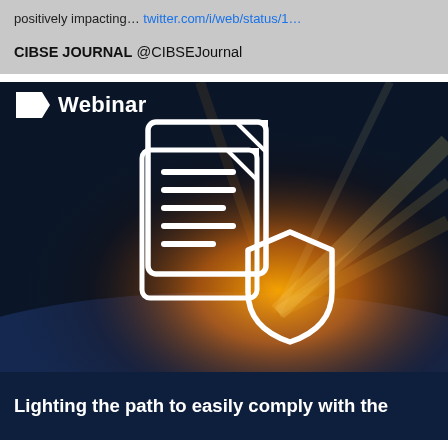positively impacting… twitter.com/i/web/status/1…
CIBSE JOURNAL @CIBSEJournal
[Figure (illustration): Webinar promotional card with dark navy background. Shows a glowing document/shield icon with orange sunburst light effect. Label tag reading 'Webinar' at top left. Bottom text reads 'Lighting the path to easily comply with the [building regulations]']
Lighting the path to easily comply with the